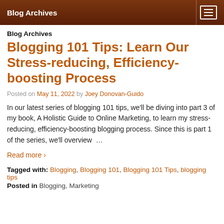Blog Archives
Blog Archives
Blogging 101 Tips: Learn Our Stress-reducing, Efficiency-boosting Process
Posted on May 11, 2022 by Joey Donovan-Guido
In our latest series of blogging 101 tips, we'll be diving into part 3 of my book, A Holistic Guide to Online Marketing, to learn my stress-reducing, efficiency-boosting blogging process. Since this is part 1 of the series, we'll overview …
Read more ›
Tagged with: Blogging, Blogging 101, Blogging 101 Tips, blogging tips
Posted in Blogging, Marketing